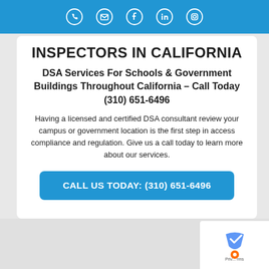Social media icons: phone, email, facebook, linkedin, instagram
INSPECTORS IN CALIFORNIA
DSA Services For Schools & Government Buildings Throughout California – Call Today (310) 651-6496
Having a licensed and certified DSA consultant review your campus or government location is the first step in access compliance and regulation. Give us a call today to learn more about our services.
CALL US TODAY: (310) 651-6496